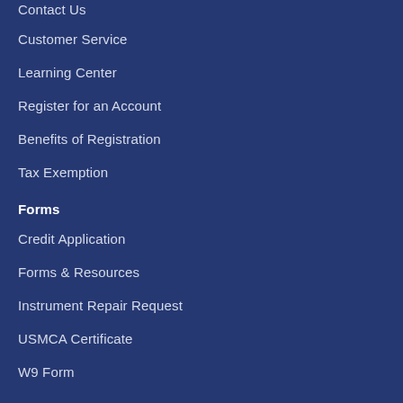Contact Us
Customer Service
Learning Center
Register for an Account
Benefits of Registration
Tax Exemption
Forms
Credit Application
Forms & Resources
Instrument Repair Request
USMCA Certificate
W9 Form
Pollardwater Catalog